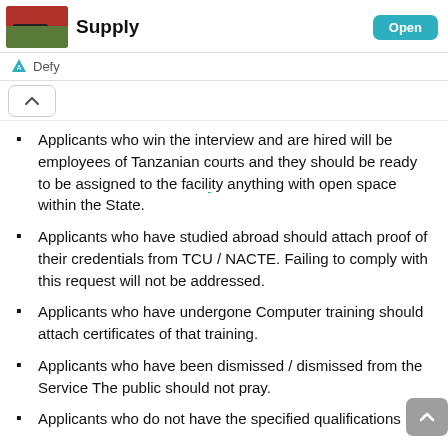Supply
Defy
Applicants who win the interview and are hired will be employees of Tanzanian courts and they should be ready to be assigned to the facility anything with open space within the State.
Applicants who have studied abroad should attach proof of their credentials from TCU / NACTE. Failing to comply with this request will not be addressed.
Applicants who have undergone Computer training should attach certificates of that training.
Applicants who have been dismissed / dismissed from the Service The public should not pray.
Applicants who do not have the specified qualifications